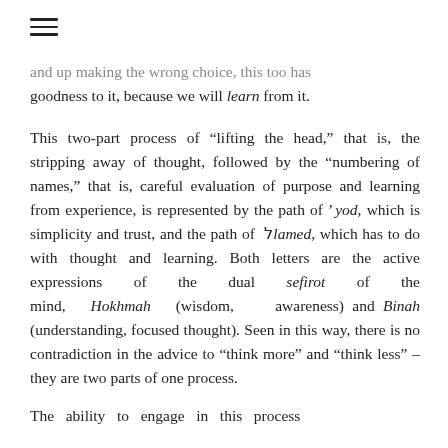and up making the wrong choice, this too has goodness to it, because we will learn from it.
This two-part process of “lifting the head,” that is, the stripping away of thought, followed by the “numbering of names,” that is, careful evaluation of purpose and learning from experience, is represented by the path of ’ yod, which is simplicity and trust, and the path of לlamed, which has to do with thought and learning. Both letters are the active expressions of the dual sefirot of the mind, Hokhmah (wisdom, awareness) and Binah (understanding, focused thought). Seen in this way, there is no contradiction in the advice to “think more” and “think less” – they are two parts of one process.
The ability to engage in this process